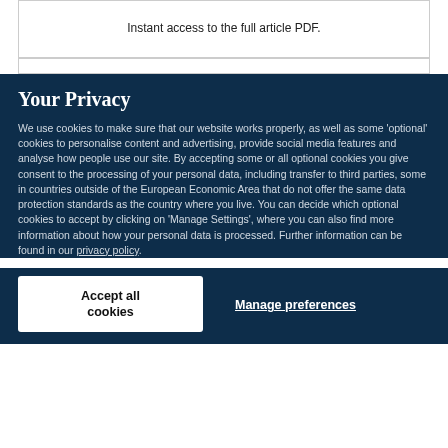Instant access to the full article PDF.
Your Privacy
We use cookies to make sure that our website works properly, as well as some 'optional' cookies to personalise content and advertising, provide social media features and analyse how people use our site. By accepting some or all optional cookies you give consent to the processing of your personal data, including transfer to third parties, some in countries outside of the European Economic Area that do not offer the same data protection standards as the country where you live. You can decide which optional cookies to accept by clicking on 'Manage Settings', where you can also find more information about how your personal data is processed. Further information can be found in our privacy policy.
Accept all cookies
Manage preferences